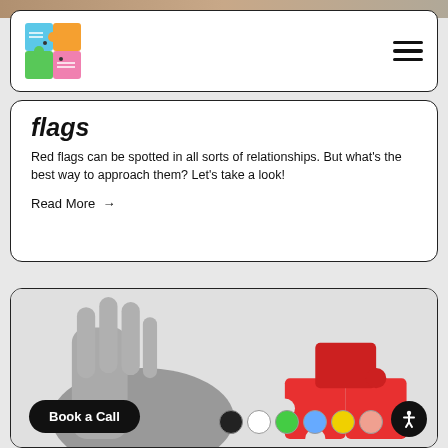[Figure (logo): Colorful puzzle-piece logo with blue, orange, green, and pink sections]
flags
Red flags can be spotted in all sorts of relationships. But what's the best way to approach them? Let's take a look!
Read More →
[Figure (photo): Grayscale image of a hand holding red puzzle pieces, with another red puzzle piece cluster visible at bottom right]
Book a Call